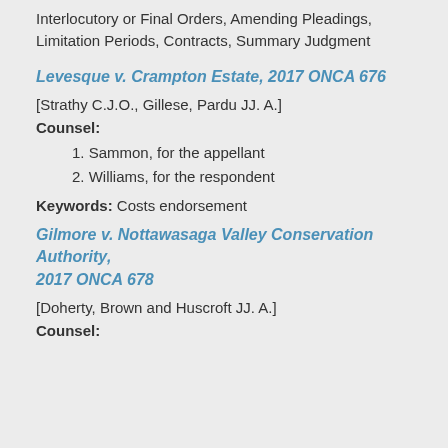Interlocutory or Final Orders, Amending Pleadings, Limitation Periods, Contracts, Summary Judgment
Levesque v. Crampton Estate, 2017 ONCA 676
[Strathy C.J.O., Gillese, Pardu JJ. A.]
Counsel:
1. Sammon, for the appellant
2. Williams, for the respondent
Keywords: Costs endorsement
Gilmore v. Nottawasaga Valley Conservation Authority, 2017 ONCA 678
[Doherty, Brown and Huscroft JJ. A.]
Counsel: